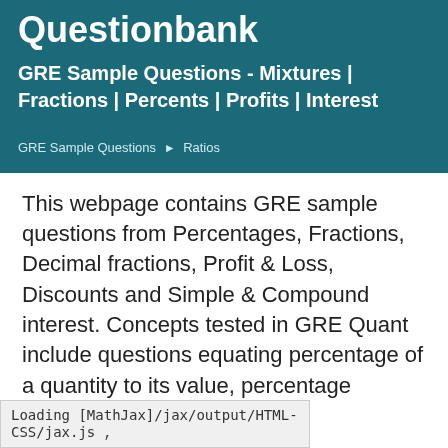Questionbank
GRE Sample Questions - Mixtures | Fractions | Percents | Profits | Interest
GRE Sample Questions ▶ Ratios
This webpage contains GRE sample questions from Percentages, Fractions, Decimal fractions, Profit & Loss, Discounts and Simple & Compound interest. Concepts tested in GRE Quant include questions equating percentage of a quantity to its value, percentage increase
Loading [MathJax]/jax/output/HTML-CSS/jax.js ,